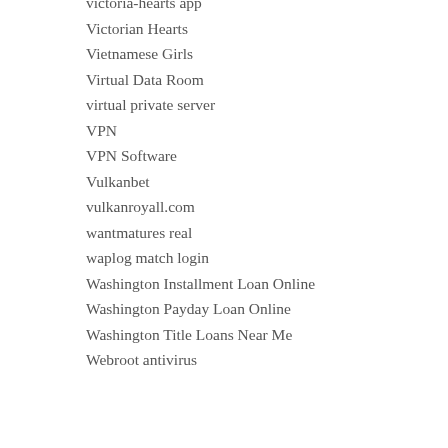victoria-hearts app
Victorian Hearts
Vietnamese Girls
Virtual Data Room
virtual private server
VPN
VPN Software
Vulkanbet
vulkanroyall.com
wantmatures real
waplog match login
Washington Installment Loan Online
Washington Payday Loan Online
Washington Title Loans Near Me
Webroot antivirus